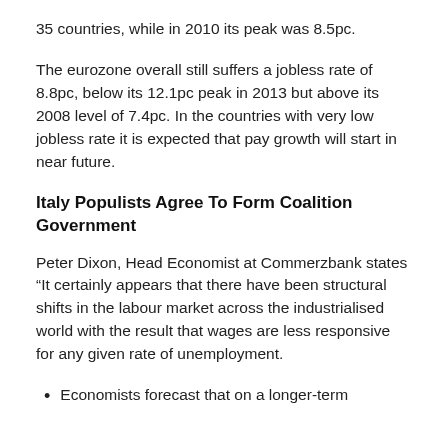35 countries, while in 2010 its peak was 8.5pc.
The eurozone overall still suffers a jobless rate of 8.8pc, below its 12.1pc peak in 2013 but above its 2008 level of 7.4pc. In the countries with very low jobless rate it is expected that pay growth will start in near future.
Italy Populists Agree To Form Coalition Government
Peter Dixon, Head Economist at Commerzbank states “It certainly appears that there have been structural shifts in the labour market across the industrialised world with the result that wages are less responsive for any given rate of unemployment.
Economists forecast that on a longer-term